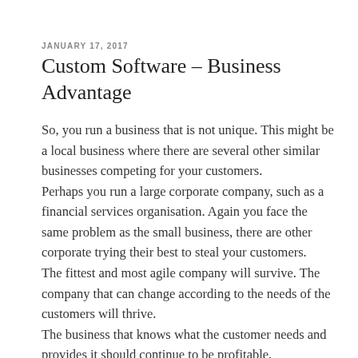JANUARY 17, 2017
Custom Software – Business Advantage
So, you run a business that is not unique. This might be a local business where there are several other similar businesses competing for your customers.
Perhaps you run a large corporate company, such as a financial services organisation. Again you face the same problem as the small business, there are other corporate trying their best to steal your customers.
The fittest and most agile company will survive. The company that can change according to the needs of the customers will thrive.
The business that knows what the customer needs and provides it should continue to be profitable.
Another way to survive is to provide the same service as your competitor but you can do so at a lower cost due to